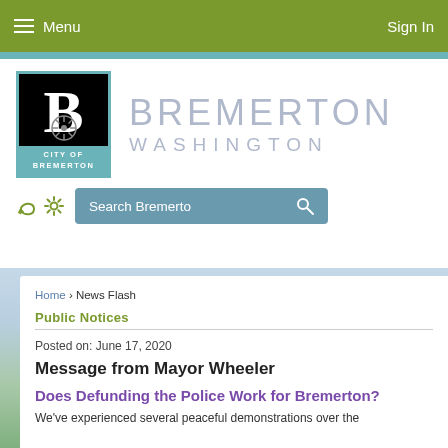Menu | Sign In
[Figure (logo): City of Bremerton logo — black square with white B letter and ship wheel, teal border, teal bottom bar reading CITY OF BREMERTON]
BREMERTON WASHINGTON
Search Bremerton
Home › News Flash
Public Notices
Posted on: June 17, 2020
Message from Mayor Wheeler
Does Defunding the Police Work for Bremerton?
We've experienced several peaceful demonstrations over the